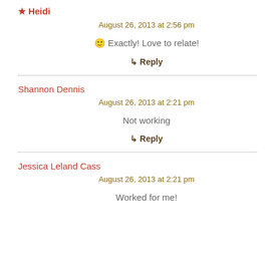★ Heidi
August 26, 2013 at 2:56 pm
🙂 Exactly! Love to relate!
↳ Reply
Shannon Dennis
August 26, 2013 at 2:21 pm
Not working
↳ Reply
Jessica Leland Cass
August 26, 2013 at 2:21 pm
Worked for me!